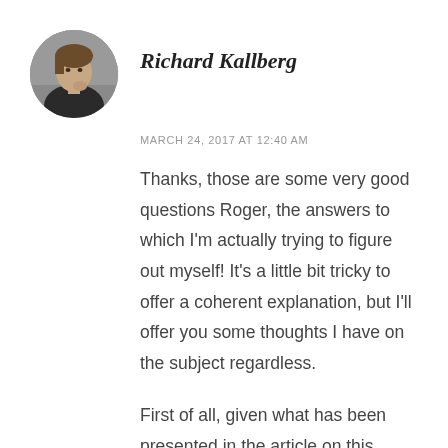[Figure (photo): Circular avatar photo of Richard Kallberg, a person in dark clothing with hand near chin, against a blurred background]
Richard Kallberg
MARCH 24, 2017 AT 12:40 AM
Thanks, those are some very good questions Roger, the answers to which I'm actually trying to figure out myself! It's a little bit tricky to offer a coherent explanation, but I'll offer you some thoughts I have on the subject regardless.
First of all, given what has been presented in the article on this page, as well as in post #13 and #14 (among other things), I'm inclined to